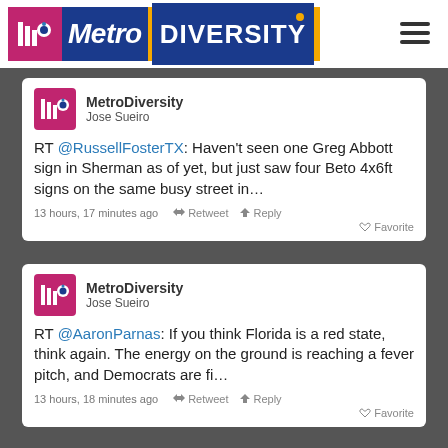[Figure (logo): MetroDiversity logo with icon and text in blue, magenta, and orange]
[Figure (screenshot): Tweet from MetroDiversity / Jose Sueiro: RT @RussellFosterTX: Haven't seen one Greg Abbott sign in Sherman as of yet, but just saw four Beto 4x6ft signs on the same busy street in... — 13 hours, 17 minutes ago, Retweet, Reply, Favorite]
[Figure (screenshot): Tweet from MetroDiversity / Jose Sueiro: RT @AaronParnas: If you think Florida is a red state, think again. The energy on the ground is reaching a fever pitch, and Democrats are fi... — 13 hours, 18 minutes ago, Retweet, Reply, Favorite]